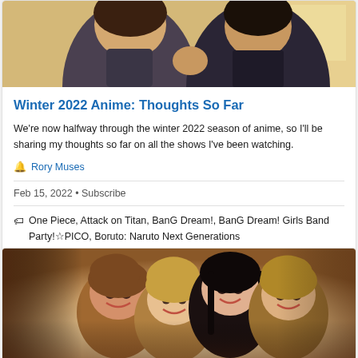[Figure (illustration): Anime scene showing two characters, one in a dark suit and one in a school uniform, appearing to interact or fight]
Winter 2022 Anime: Thoughts So Far
We're now halfway through the winter 2022 season of anime, so I'll be sharing my thoughts so far on all the shows I've been watching.
🔔 Rory Muses
Feb 15, 2022 • Subscribe
🏷 One Piece, Attack on Titan, BanG Dream!, BanG Dream! Girls Band Party!☆PICO, Boruto: Naruto Next Generations
[Figure (illustration): Anime scene showing four girls with brown, blonde, black and light brown hair laughing and smiling together]